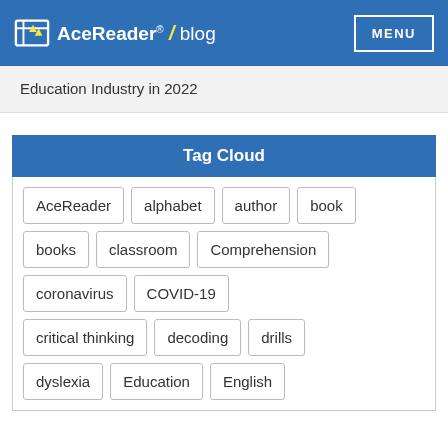AceReader® / blog  MENU
Education Industry in 2022
Tag Cloud
AceReader
alphabet
author
book
books
classroom
Comprehension
coronavirus
COVID-19
critical thinking
decoding
drills
dyslexia
Education
English